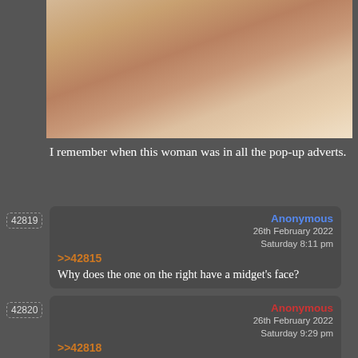[Figure (photo): Partial view of a person, cropped photo used in pop-up adverts]
I remember when this woman was in all the pop-up adverts.
42819 Anonymous 26th February 2022 Saturday 8:11 pm >>42815 Why does the one on the right have a midget's face?
42820 Anonymous 26th February 2022 Saturday 9:29 pm >>42818 Phwoar fantastic chest. Looks at the craftsmanship.
42821 Anonymous 26th February 2022 Saturday 10:59 pm >>42817 This woman looks like she would be a lot of fun to be friends with. It's one of my favourite pictures in the thread, just because I get such a strong sense of